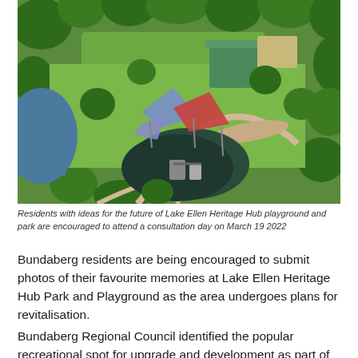[Figure (photo): Aerial photograph of Lake Ellen Heritage Hub playground and park, showing colorful shade sails (blue, red/maroon), green lawns, trees, curved paths, and a dark rubber playground surface with play equipment.]
Residents with ideas for the future of Lake Ellen Heritage Hub playground and park are encouraged to attend a consultation day on March 19 2022
Bundaberg residents are being encouraged to submit photos of their favourite memories at Lake Ellen Heritage Hub Park and Playground as the area undergoes plans for revitalisation.
Bundaberg Regional Council identified the popular recreational spot for upgrade and development as part of the